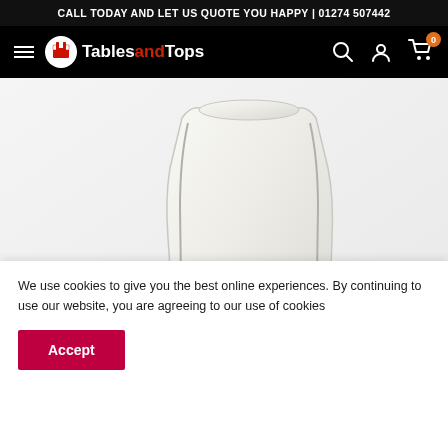CALL TODAY AND LET US QUOTE YOU HAPPY | 01274 507442
TablesandTops
[Figure (photo): Close-up photo of the back of a white/cream upholstered chair with visible stitching detail, against a white background]
We use cookies to give you the best online experiences. By continuing to use our website, you are agreeing to our use of cookies
Accept